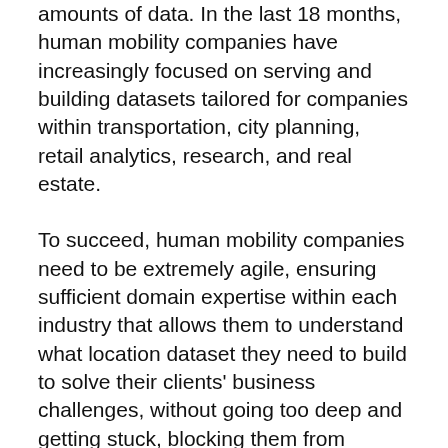amounts of data. In the last 18 months, human mobility companies have increasingly focused on serving and building datasets tailored for companies within transportation, city planning, retail analytics, research, and real estate.
To succeed, human mobility companies need to be extremely agile, ensuring sufficient domain expertise within each industry that allows them to understand what location dataset they need to build to solve their clients' business challenges, without going too deep and getting stuck, blocking them from approaching other verticals.
Location Data Applications Companies